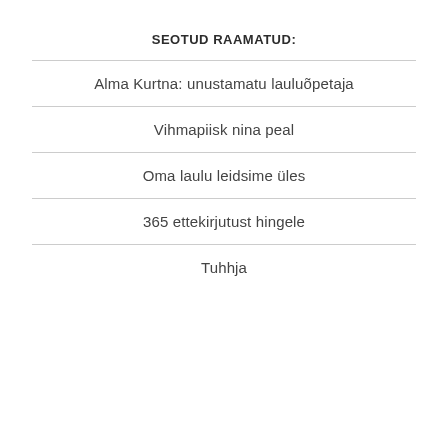SEOTUD RAAMATUD:
Alma Kurtna: unustamatu lauluõpetaja
Vihmapiisk nina peal
Oma laulu leidsime üles
365 ettekirjutust hingele
Tuhhja